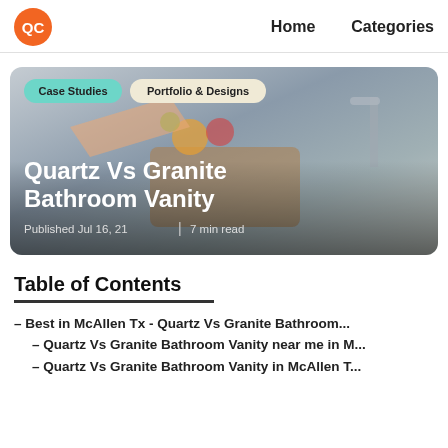QC  Home  Categories
[Figure (photo): Kitchen countertop scene with a cutting board, fruits, vegetables, and a faucet, with category tags 'Case Studies' and 'Portfolio & Designs' overlaid at top left, and the article title 'Quartz Vs Granite Bathroom Vanity' and metadata 'Published Jul 16, 21 | 7 min read' overlaid at bottom left.]
Table of Contents
– Best in McAllen Tx - Quartz Vs Granite Bathroom...
– Quartz Vs Granite Bathroom Vanity near me in M...
– Quartz Vs Granite Bathroom Vanity in McAllen T...